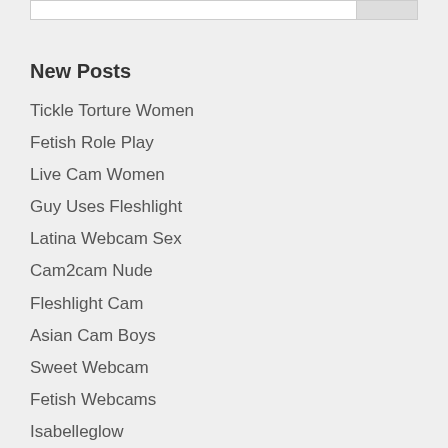New Posts
Tickle Torture Women
Fetish Role Play
Live Cam Women
Guy Uses Fleshlight
Latina Webcam Sex
Cam2cam Nude
Fleshlight Cam
Asian Cam Boys
Sweet Webcam
Fetish Webcams
Isabelleglow
Ariella Ferrera Nipples
Orgasm Denial Schedule
Ronni Nude